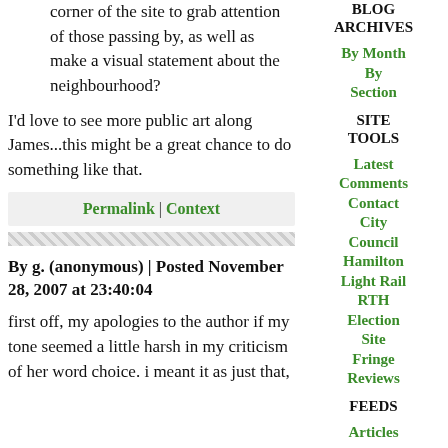corner of the site to grab attention of those passing by, as well as make a visual statement about the neighbourhood?
I'd love to see more public art along James...this might be a great chance to do something like that.
Permalink | Context
By g. (anonymous) | Posted November 28, 2007 at 23:40:04
first off, my apologies to the author if my tone seemed a little harsh in my criticism of her word choice. i meant it as just that,
BLOG ARCHIVES
By Month
By Section
SITE TOOLS
Latest Comments
Contact
City Council
Hamilton Light Rail
RTH Election Site
Fringe Reviews
FEEDS
Articles